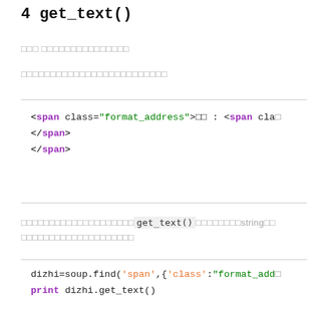4 get_text()
（Chinese text — method description line 1）
（Chinese text — method description line 2）
[Figure (screenshot): Code block showing HTML span tag: <span class="format_address">□□ : <span cla...</span></span>]
（Chinese text）get_text()（Chinese text）string（Chinese text）
[Figure (screenshot): Code block: dizhi=soup.find('span',{'class':"format_add... print dizhi.get_text()]